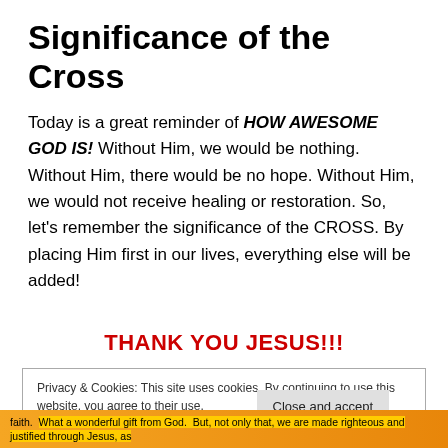Significance of the Cross
Today is a great reminder of HOW AWESOME GOD IS! Without Him, we would be nothing. Without Him, there would be no hope. Without Him, we would not receive healing or restoration. So, let's remember the significance of the CROSS. By placing Him first in our lives, everything else will be added!
THANK YOU JESUS!!!
Privacy & Cookies: This site uses cookies. By continuing to use this website, you agree to their use.
To find out more, including how to control cookies, see here: Cookie Policy
Close and accept
faith. What a wonderful gift from God. But, not only that, we are made righteous and justified through Jesus, as well. (Roman 5:18)